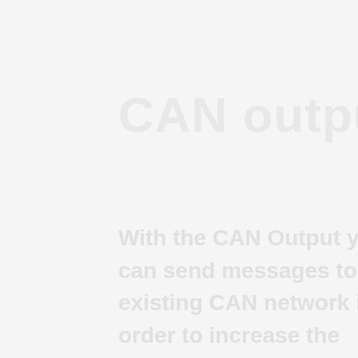CAN output
With the CAN Output you can send messages to an existing CAN network in order to increase the range of vehicle control possibilities.